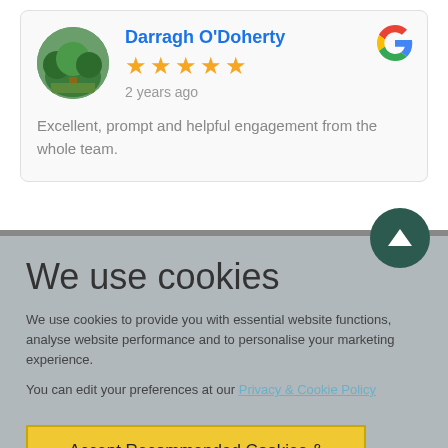Darragh O'Doherty
★★★★★
2 years ago
Excellent, prompt and helpful engagement from the whole team.
We use cookies
We use cookies to provide you with essential website functions, analyse website performance and to personalise your marketing experience.
You can edit your preferences at our Privacy & Cookie Policy
Accept Recommended Cookies & Continue